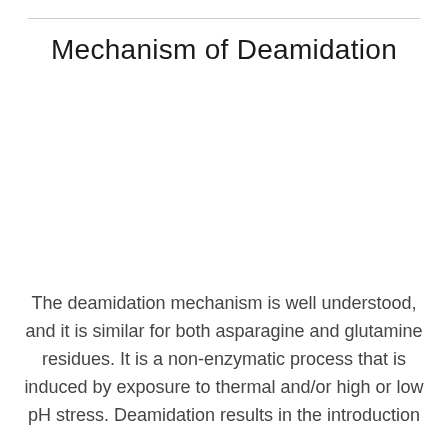Mechanism of Deamidation
The deamidation mechanism is well understood, and it is similar for both asparagine and glutamine residues. It is a non-enzymatic process that is induced by exposure to thermal and/or high or low pH stress. Deamidation results in the introduction